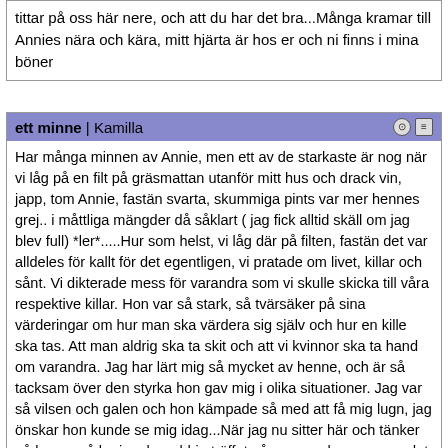tittar på oss här nere, och att du har det bra...Många kramar till Annies nära och kära, mitt hjärta är hos er och ni finns i mina böner
ett minne | Kamilla
Har många minnen av Annie, men ett av de starkaste är nog när vi låg på en filt på gräsmattan utanför mitt hus och drack vin, japp, tom Annie, fastän svarta, skummiga pints var mer hennes grej.. i måttliga mängder då såklart ( jag fick alltid skäll om jag blev full) *ler*.....Hur som helst, vi låg där på filten, fastän det var alldeles för kallt för det egentligen, vi pratade om livet, killar och sånt. Vi dikterade mess för varandra som vi skulle skicka till våra respektive killar. Hon var så stark, så tvärsäker på sina värderingar om hur man ska värdera sig själv och hur en kille ska tas. Att man aldrig ska ta skit och att vi kvinnor ska ta hand om varandra. Jag har lärt mig så mycket av henne, och är så tacksam över den styrka hon gav mig i olika situationer. Jag var så vilsen och galen och hon kämpade så med att få mig lugn, jag önskar hon kunde se mig idag...När jag nu sitter här och tänker på henne så ler jag, har aldrig träffat någon som henne, men det känns så ensamt att inte kunna se tillbaka tillsammans och skratta åt allt roligt och tokigt vi gjort...Och fastän hon var en rocker så var vår låt i alla fall "Breathe" med Sean Paul,